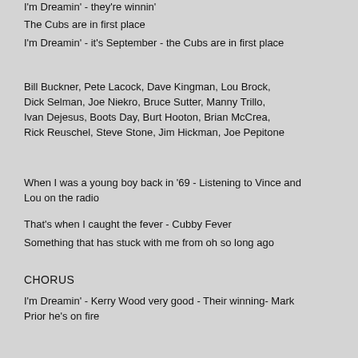I'm Dreamin' - they're winnin'
The Cubs are in first place
I'm Dreamin' - it's September - the Cubs are in first place
Bill Buckner, Pete Lacock, Dave Kingman, Lou Brock, Dick Selman, Joe Niekro, Bruce Sutter, Manny Trillo, Ivan Dejesus, Boots Day, Burt Hooton, Brian McCrea, Rick Reuschel, Steve Stone, Jim Hickman, Joe Pepitone
When I was a young boy back in '69 - Listening to Vince and Lou on the radio
That's when I caught the fever - Cubby Fever
Something that has stuck with me from oh so long ago
CHORUS
I'm Dreamin' - Kerry Wood very good - Their winning- Mark Prior he's on fire